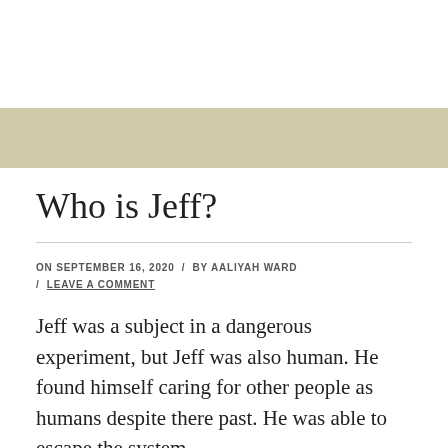Who is Jeff?
ON SEPTEMBER 16, 2020 / BY AALIYAH WARD / LEAVE A COMMENT
Jeff was a subject in a dangerous experiment, but Jeff was also human. He found himself caring for other people as humans despite there past. He was able to escape the system,